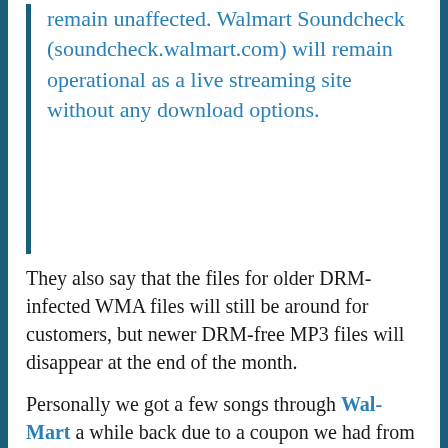remain unaffected. Walmart Soundcheck (soundcheck.walmart.com) will remain operational as a live streaming site without any download options.
They also say that the files for older DRM-infected WMA files will still be around for customers, but newer DRM-free MP3 files will disappear at the end of the month.
Personally we got a few songs through Wal-Mart a while back due to a coupon we had from somewhere. And I still remember it being a convoluted hassle unlike any other service I had dealt with. So I won't mourn the loss of the